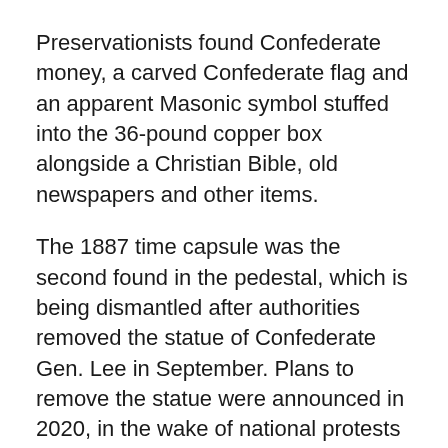Preservationists found Confederate money, a carved Confederate flag and an apparent Masonic symbol stuffed into the 36-pound copper box alongside a Christian Bible, old newspapers and other items.
The 1887 time capsule was the second found in the pedestal, which is being dismantled after authorities removed the statue of Confederate Gen. Lee in September. Plans to remove the statue were announced in 2020, in the wake of national protests sparked by the death of George Floyd at the hands of Minneapolis police.
The first time capsule, a lead box, was recovered several weeks ago but didn't